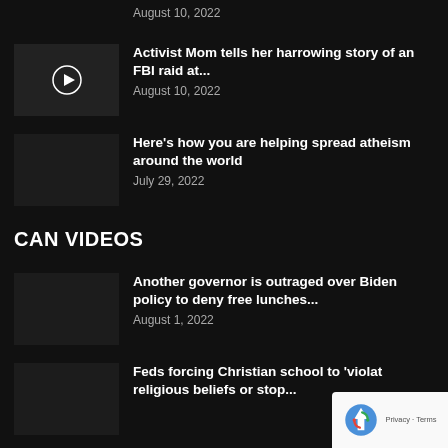August 10, 2022
Activist Mom tells her harrowing story of an FBI raid at...
August 10, 2022
Here's how you are helping spread atheism around the world
July 29, 2022
CAN VIDEOS
Another governor is outraged over Biden policy to deny free lunches...
August 1, 2022
Feds forcing Christian school to 'violat religious beliefs or stop...